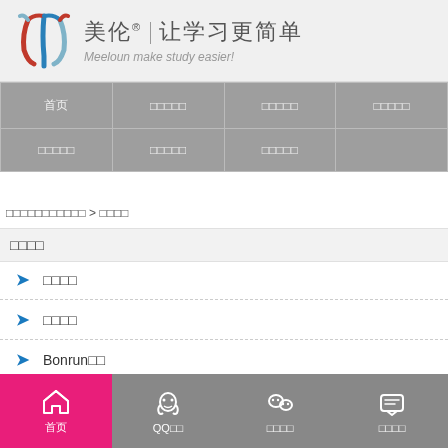[Figure (logo): Meeloun logo - stylized W/Y shape in red, blue, grey colors]
美伦® | 让学习更简单
Meeloun make study easier!
| 首页 | □□□□□ | □□□□□ | □□□□□ |
| □□□□□ | □□□□□ | □□□□□ |  |
□□□□□□□□□□□ > □□□□
□□□□
□□□□
□□□□
Bonrun□□
首页 | QQ□□ | □□□□ | □□□□